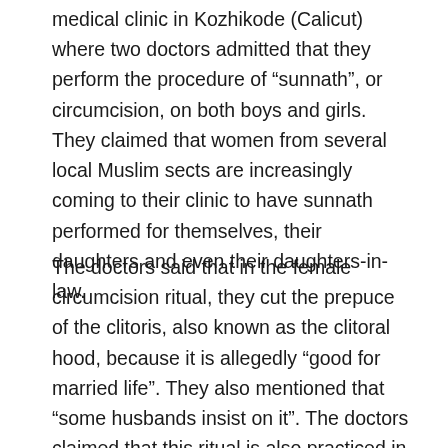medical clinic in Kozhikode (Calicut) where two doctors admitted that they perform the procedure of “sunnath”, or circumcision, on both boys and girls. They claimed that women from several local Muslim sects are increasingly coming to their clinic to have sunnath performed for themselves, their daughters and even their daughters-in-law.
The doctors said that in the female circumcision ritual, they cut the prepuce of the clitoris, also known as the clitoral hood, because it is allegedly “good for married life”. They also mentioned that “some husbands insist on it”. The doctors claimed that this ritual is also practiced in Saudi Arabia, Egypt and Africa, but denied that it could be harmful.